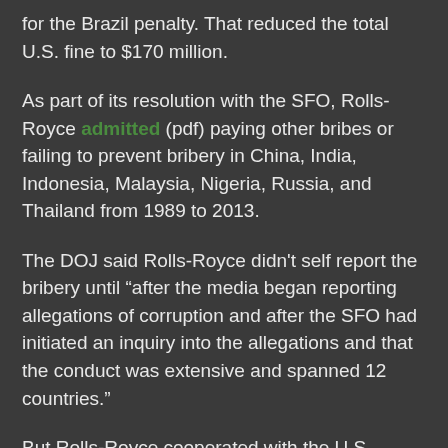for the Brazil penalty. That reduced the total U.S. fine to $170 million.
As part of its resolution with the SFO, Rolls-Royce admitted (pdf) paying other bribes or failing to prevent bribery in China, India, Indonesia, Malaysia, Nigeria, Russia, and Thailand from 1989 to 2013.
The DOJ said Rolls-Royce didn't self report the bribery until "after the media began reporting allegations of corruption and after the SFO had initiated an inquiry into the allegations and that the conduct was extensive and spanned 12 countries."
But Rolls-Royce cooperated with the U.S. investigation, the DOJ said.  And the company fired employees and agents "implicated" in the bribery. It also put in place